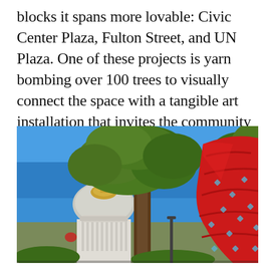blocks it spans more lovable: Civic Center Plaza, Fulton Street, and UN Plaza. One of these projects is yarn bombing over 100 trees to visually connect the space with a tangible art installation that invites the community to connect with the space.
[Figure (photo): Outdoor photograph showing a large tree with red yarn-bombed knitted covering on its trunk/branches on the right side, with the San Francisco City Hall dome visible on the left side against a bright blue sky. Green leaves fill the upper portion of the frame.]